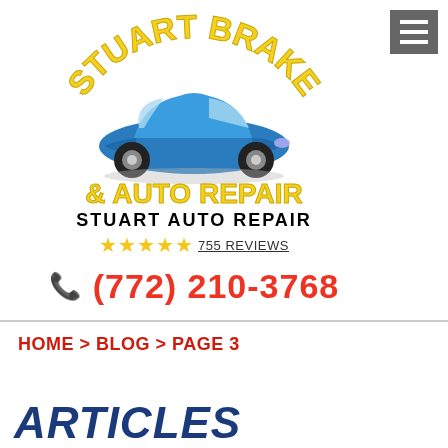[Figure (logo): Stuart Brake & Auto Repair logo with blue sports car and yellow arched text]
STUART AUTO REPAIR
★★★★★ 755 REVIEWS
(772) 210-3768
HOME > BLOG > PAGE 3
ARTICLES